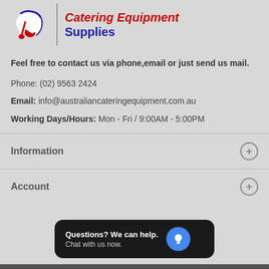[Figure (logo): Australian Catering Equipment Supplies logo with map of Australia icon in red, white and blue, and company name in red italic and blue text]
Feel free to contact us via phone,email or just send us mail.
Phone: (02) 9563 2424
Email: info@australiancateringequipment.com.au
Working Days/Hours: Mon - Fri / 9:00AM - 5:00PM
Information
Account
Questions? We can help. Chat with us now.